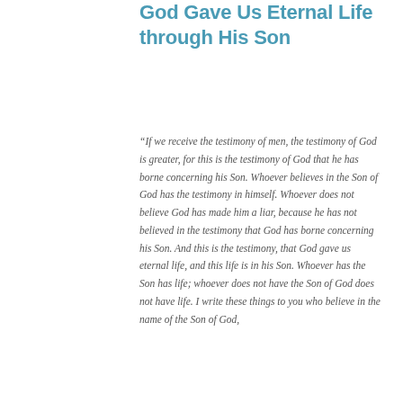God Gave Us Eternal Life through His Son
“If we receive the testimony of men, the testimony of God is greater, for this is the testimony of God that he has borne concerning his Son. Whoever believes in the Son of God has the testimony in himself. Whoever does not believe God has made him a liar, because he has not believed in the testimony that God has borne concerning his Son. And this is the testimony, that God gave us eternal life, and this life is in his Son. Whoever has the Son has life; whoever does not have the Son of God does not have life. I write these things to you who believe in the name of the Son of God,